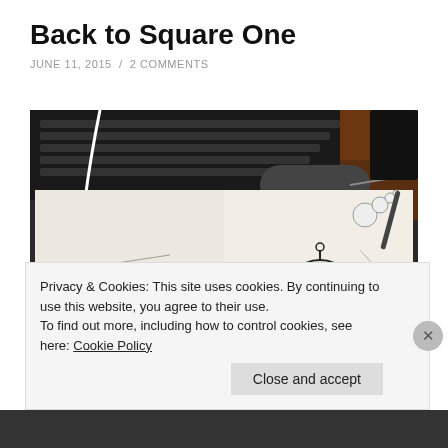Back to Square One
JUNE 11, 2015  /  2 COMMENTS
[Figure (photo): Open sketchbook on a desk showing two pages of pencil/ink drawings: left page shows a dynamic action figure in pencil, right page shows a cartoon robot-like character with a purple visor. A keyboard and dark surface visible in the background.]
Privacy & Cookies: This site uses cookies. By continuing to use this website, you agree to their use.
To find out more, including how to control cookies, see here: Cookie Policy
Close and accept